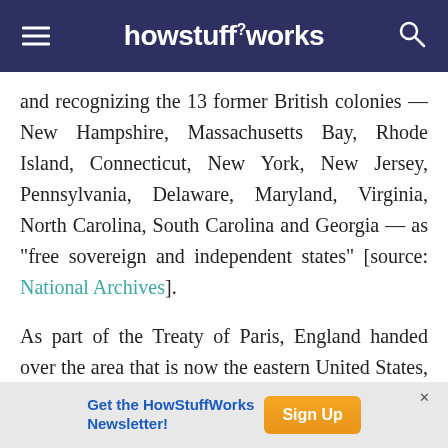howstuffworks
and recognizing the 13 former British colonies — New Hampshire, Massachusetts Bay, Rhode Island, Connecticut, New York, New Jersey, Pennsylvania, Delaware, Maryland, Virginia, North Carolina, South Carolina and Georgia — as "free sovereign and independent states" [source: National Archives].
As part of the Treaty of Paris, England handed over the area that is now the eastern United States, from the Atlantic Ocean all the way to the Mississippi River, bound by Canada to the north and the
[Figure (other): Advertisement banner: Get the HowStuffWorks Newsletter! with Sign Up button]